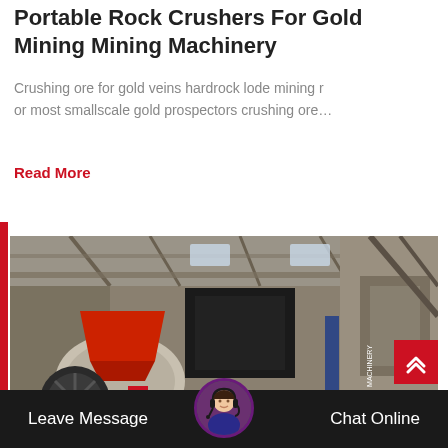Portable Rock Crushers For Gold Mining Mining Machinery
Crushing ore for gold veins hardrock lode mining r or most smallscale gold prospectors crushing ore…
Read More
[Figure (photo): Industrial rock crusher machinery inside a factory building, showing large crushing equipment with red/orange hopper and mechanical components.]
Leave Message   Chat Online